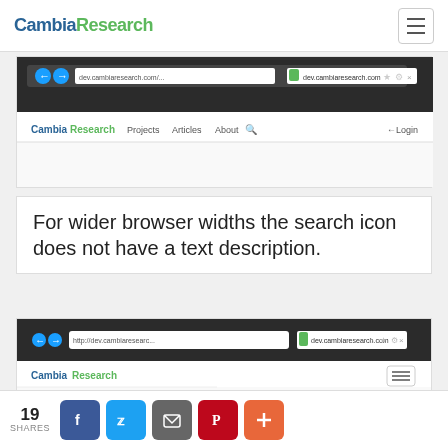CambiaResearch
[Figure (screenshot): Browser screenshot showing CambiaResearch website in wide view with nav bar showing Projects, Articles, About, search icon, and Login]
For wider browser widths the search icon does not have a text description.
[Figure (screenshot): Browser screenshot showing CambiaResearch website in narrow/mobile view with hamburger menu and Projects, Articles, About listed vertically]
19 SHARES social share buttons: Facebook, Twitter, Email, Pinterest, Plus